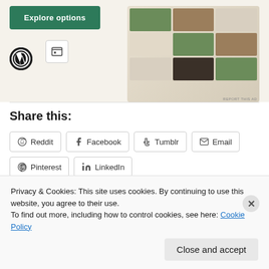[Figure (screenshot): Advertisement banner with a green Explore options button, WordPress logo, a small icon, and food app mockup images on a beige background. REPORT THIS AD text in bottom right.]
Share this:
Reddit  Facebook  Tumblr  Email  Pinterest  LinkedIn
Privacy & Cookies: This site uses cookies. By continuing to use this website, you agree to their use.
To find out more, including how to control cookies, see here: Cookie Policy